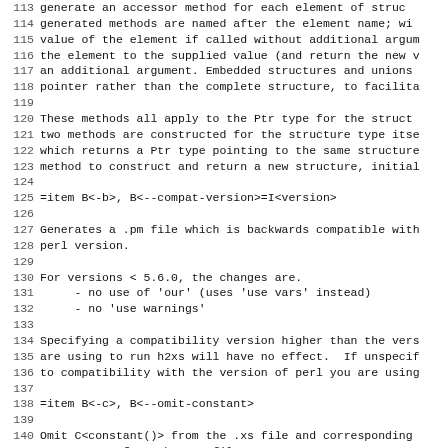113 generate an accessor method for each element of struc...
114 generated methods are named after the element name; wi...
115 value of the element if called without additional argum...
116 the element to the supplied value (and return the new v...
117 an additional argument. Embedded structures and unions ...
118 pointer rather than the complete structure, to facilita...
119 
120 These methods all apply to the Ptr type for the struct...
121 two methods are constructed for the structure type itse...
122 which returns a Ptr type pointing to the same structure...
123 method to construct and return a new structure, initial...
124 
125 =item B<-b>, B<--compat-version>=I<version>
126 
127 Generates a .pm file which is backwards compatible with...
128 perl version.
129 
130 For versions < 5.6.0, the changes are.
131      - no use of 'our' (uses 'use vars' instead)
132      - no 'use warnings'
133 
134 Specifying a compatibility version higher than the vers...
135 are using to run h2xs will have no effect.  If unspecif...
136 to compatibility with the version of perl you are using...
137 
138 =item B<-c>, B<--omit-constant>
139 
140 Omit C<constant()> from the .xs file and corresponding...
141 C<AUTOLOAD> from the .pm file.
142 
143 =item B<-d>, B<--debugging>
144 
145 Turn on debugging messages.